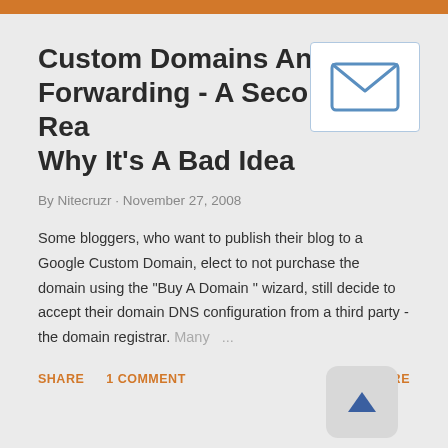Custom Domains And URL Forwarding - A Second Reason Why It's A Bad Idea
By Nitecruzr · November 27, 2008
Some bloggers, who want to publish their blog to a Google Custom Domain, elect to not purchase the domain using the "Buy A Domain " wizard, still decide to accept their domain DNS configuration from a third party - the domain registrar. Many ...
SHARE   1 COMMENT   READ MORE